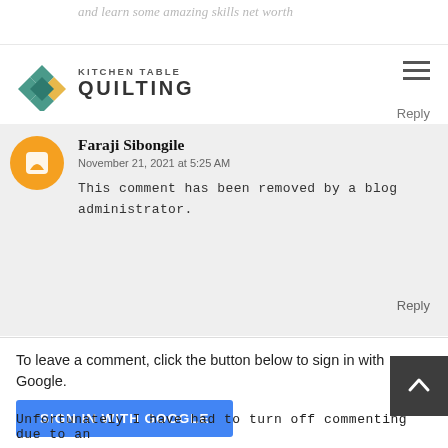and learn some amazing skills net worth
Kitchen Table Quilting
Reply
Faraji Sibongile
November 21, 2021 at 5:25 AM
This comment has been removed by a blog administrator.
Reply
To leave a comment, click the button below to sign in with Google.
SIGN IN WITH GOOGLE
Unfortunately I have had to turn off commenting due to an